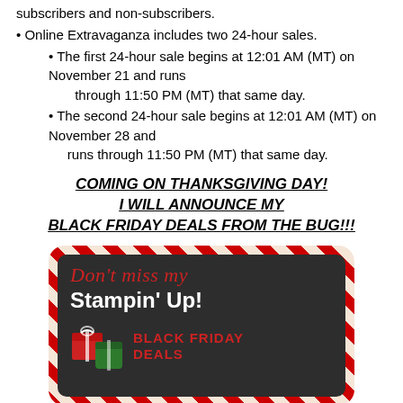subscribers and non-subscribers.
Online Extravaganza includes two 24-hour sales.
The first 24-hour sale begins at 12:01 AM (MT) on November 21 and runs through 11:50 PM (MT) that same day.
The second 24-hour sale begins at 12:01 AM (MT) on November 28 and runs through 11:50 PM (MT) that same day.
COMING ON THANKSGIVING DAY! I WILL ANNOUNCE MY BLACK FRIDAY DEALS FROM THE BUG!!!
[Figure (illustration): A decorative card with candy cane striped border and dark background reading 'Don't miss my Stampin' Up! BLACK FRIDAY DEALS' with gift box icons.]